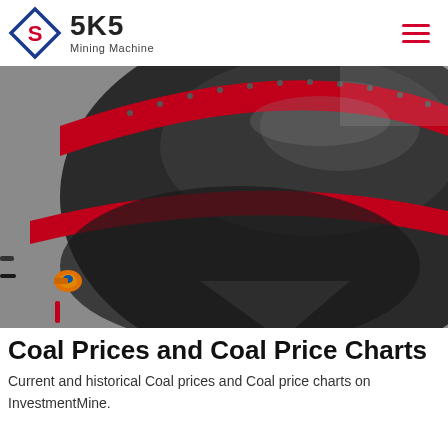SKS Mining Machine
[Figure (photo): Close-up photograph of a large industrial mining machine drum/shell painted dark grey with red horizontal bands/rings, showing internal components and a yellow/blue fitting on the left side.]
Coal Prices and Coal Price Charts
Current and historical Coal prices and Coal price charts on InvestmentMine.